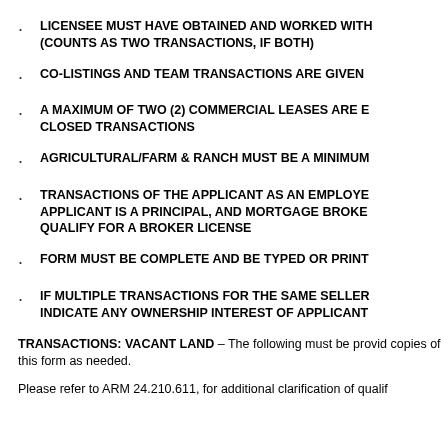LICENSEE MUST HAVE OBTAINED AND WORKED WITH (COUNTS AS TWO TRANSACTIONS, IF BOTH)
CO-LISTINGS AND TEAM TRANSACTIONS ARE GIVEN
A MAXIMUM OF TWO (2) COMMERCIAL LEASES ARE E CLOSED TRANSACTIONS
AGRICULTURAL/FARM & RANCH MUST BE A MINIMUM
TRANSACTIONS OF THE APPLICANT AS AN EMPLOYE APPLICANT IS A PRINCIPAL, AND MORTGAGE BROKE QUALIFY FOR A BROKER LICENSE
FORM MUST BE COMPLETE AND BE TYPED OR PRINT
IF MULTIPLE TRANSACTIONS FOR THE SAME SELLER INDICATE ANY OWNERSHIP INTEREST OF APPLICANT
TRANSACTIONS: VACANT LAND – The following must be provid copies of this form as needed.
Please refer to ARM 24.210.611, for additional clarification of qualif